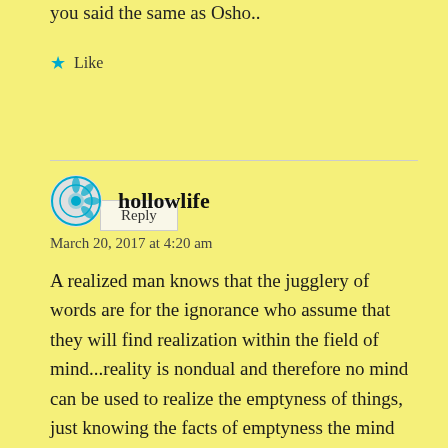you said the same as Osho..
★ Like
Reply
hollowlife
March 20, 2017 at 4:20 am
A realized man knows that the jugglery of words are for the ignorance who assume that they will find realization within the field of mind...reality is nondual and therefore no mind can be used to realize the emptyness of things, just knowing the facts of emptyness the mind eventually disolves and does not